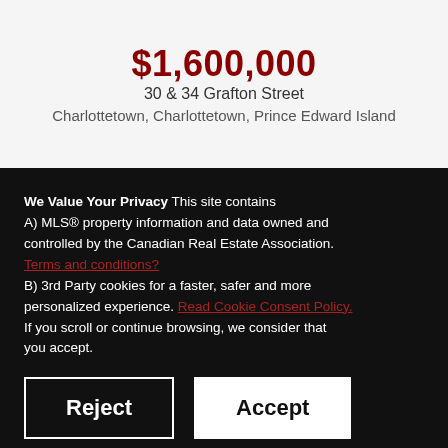$1,600,000
30 & 34 Grafton Street
Charlottetown, Charlottetown, Prince Edward Island
We Value Your Privacy This site contains A) MLS® property information and data owned and controlled by the Canadian Real Estate Association. Terms and conditions? B) 3rd Party cookies for a faster, safer and more personalized experience. Read Cookie Consent Policy. If you scroll or continue browsing, we consider that you accept.
Reject
Accept